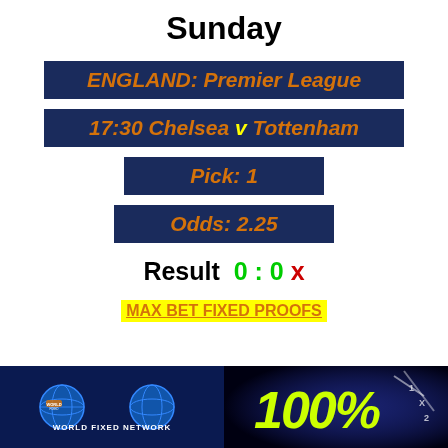Sunday
ENGLAND: Premier League
17:30 Chelsea v Tottenham
Pick: 1
Odds: 2.25
Result  0 : 0 x
MAX BET FIXED PROOFS
[Figure (illustration): Two banner images at the bottom: left shows World Fixed Network logo with globe graphics on dark blue background; right shows 100% text in yellow-green on dark background with a figure]